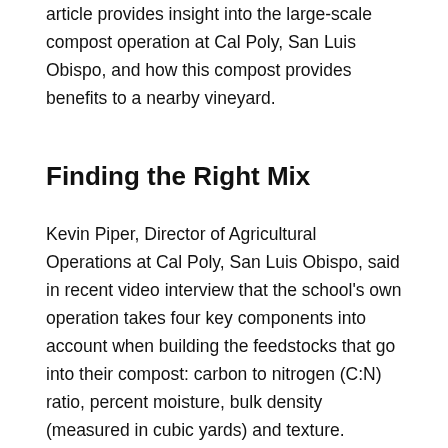article provides insight into the large-scale compost operation at Cal Poly, San Luis Obispo, and how this compost provides benefits to a nearby vineyard.
Finding the Right Mix
Kevin Piper, Director of Agricultural Operations at Cal Poly, San Luis Obispo, said in recent video interview that the school's own operation takes four key components into account when building the feedstocks that go into their compost: carbon to nitrogen (C:N) ratio, percent moisture, bulk density (measured in cubic yards) and texture.
“Good composting practices are important,” Piper said. “We want to know our feedstocks well, and that means knowing